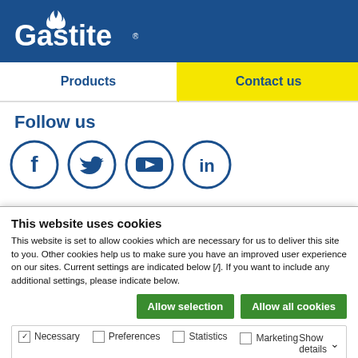Gastite
Products
Contact us
Follow us
[Figure (illustration): Social media icons: Facebook, Twitter, YouTube, LinkedIn — each in a blue circle outline]
This website uses cookies
This website is set to allow cookies which are necessary for us to deliver this site to you. Other cookies help us to make sure you have an improved user experience on our sites. Current settings are indicated below [/]. If you want to include any additional settings, please indicate below.
Allow selection   Allow all cookies
Necessary  Preferences  Statistics  Marketing  Show details